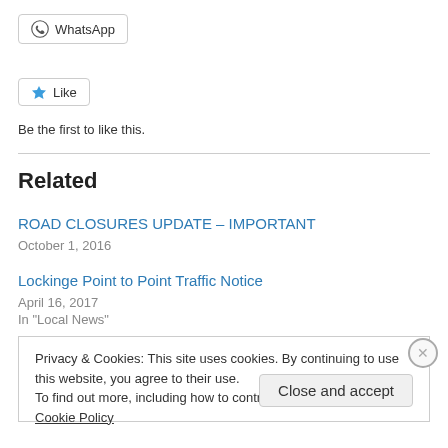[Figure (other): WhatsApp share button with WhatsApp logo icon]
[Figure (other): Like button with star icon]
Be the first to like this.
Related
ROAD CLOSURES UPDATE – IMPORTANT
October 1, 2016
Lockinge Point to Point Traffic Notice
April 16, 2017
In "Local News"
Privacy & Cookies: This site uses cookies. By continuing to use this website, you agree to their use.
To find out more, including how to control cookies, see here: Cookie Policy